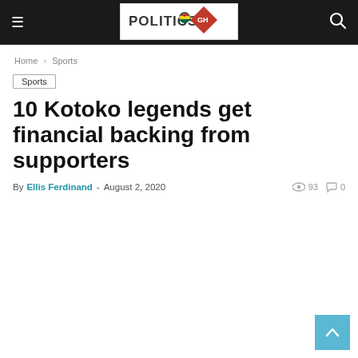POLITICS GH
Home › Sports
Sports
10 Kotoko legends get financial backing from supporters
By Ellis Ferdinand - August 2, 2020   93   0